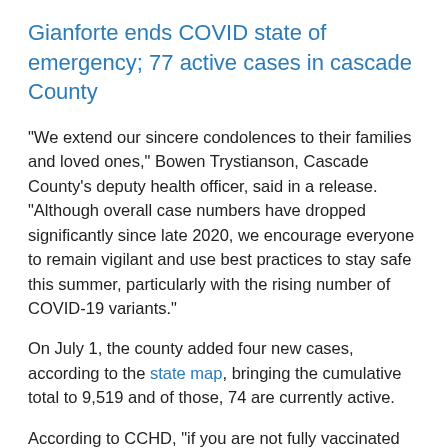Gianforte ends COVID state of emergency; 77 active cases in cascade County
“We extend our sincere condolences to their families and loved ones,” Bowen Trystianson, Cascade County’s deputy health officer, said in a release. “Although overall case numbers have dropped significantly since late 2020, we encourage everyone to remain vigilant and use best practices to stay safe this summer, particularly with the rising number of COVID-19 variants.”
On July 1, the county added four new cases, according to the state map, bringing the cumulative total to 9,519 and of those, 74 are currently active.
According to CCHD, “if you are not fully vaccinated and aged 2 or older, you should continue to wear a mask in indoor public places and maintain social distancing. If